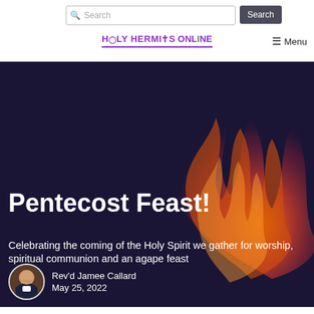Search | HOLY HERMITS ONLINE | Menu
[Figure (screenshot): Hero banner image with dark navy background and flame/fire abstract design on the right side]
Pentecost Feast!
Celebrating the coming of the Holy Spirit we gather for worship, spiritual communion and an agape feast
Rev'd Jamee Callard
May 25, 2022